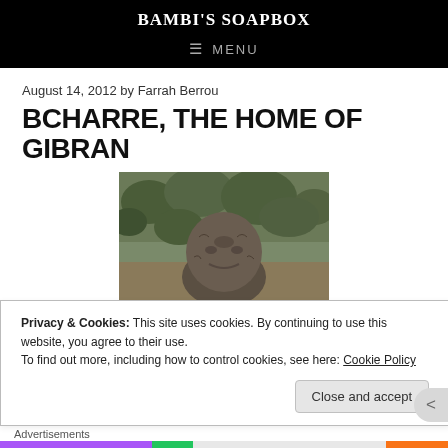BAMBI'S SOAPBOX
MENU
August 14, 2012 by Farrah Berrou
BCHARRE, THE HOME OF GIBRAN
[Figure (photo): A large stone or bronze bust/sculpture of a face lying outdoors amid green shrubs and vegetation]
Privacy & Cookies: This site uses cookies. By continuing to use this website, you agree to their use.
To find out more, including how to control cookies, see here: Cookie Policy
Close and accept
Advertisements